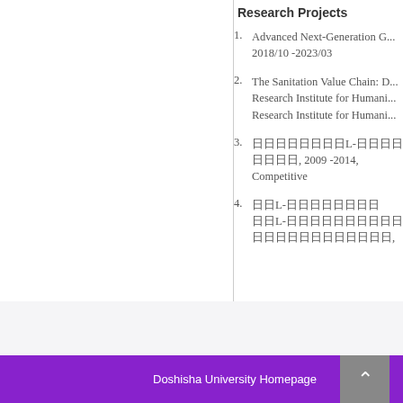Research Projects
Advanced Next-Generation G... 2018/10 -2023/03
The Sanitation Value Chain: D... Research Institute for Humani... Research Institute for Humani...
日日日日日日日日L-日日日 日日日, 2009 -2014, Competitive
日日L-日日日日日日日日 日日L-日日日日日日日日日日日日日日日日日日日日日日,
Doshisha University Homepage   Rese...